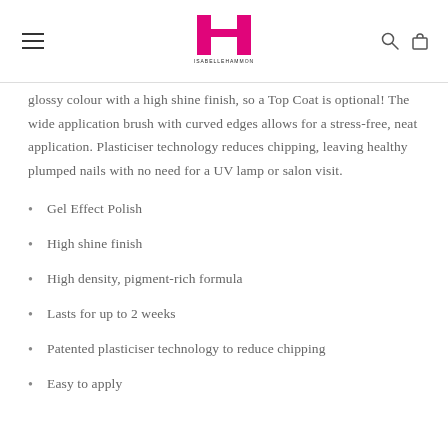IsabelleHammon logo and navigation
glossy colour with a high shine finish, so a Top Coat is optional! The wide application brush with curved edges allows for a stress-free, neat application. Plasticiser technology reduces chipping, leaving healthy plumped nails with no need for a UV lamp or salon visit.
Gel Effect Polish
High shine finish
High density, pigment-rich formula
Lasts for up to 2 weeks
Patented plasticiser technology to reduce chipping
Easy to apply